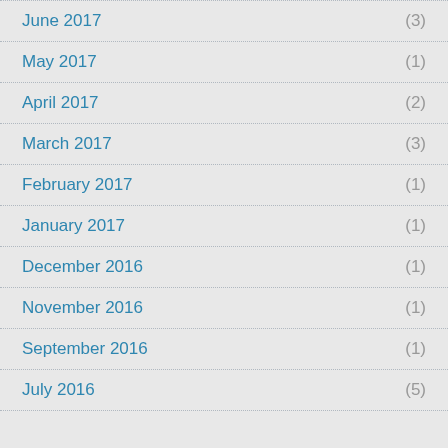June 2017 (3)
May 2017 (1)
April 2017 (2)
March 2017 (3)
February 2017 (1)
January 2017 (1)
December 2016 (1)
November 2016 (1)
September 2016 (1)
July 2016 (5)